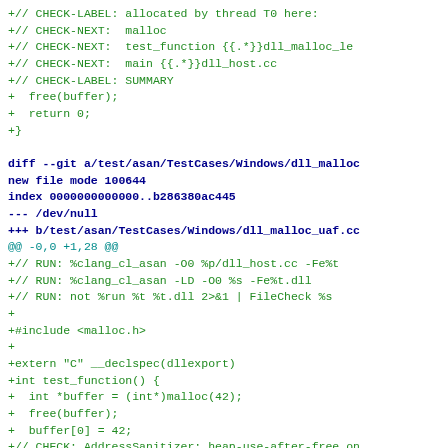Diff code snippet showing git diff output for dll_malloc and dll_malloc_uaf test cases with CHECK labels, RUN commands, and C++ source code including malloc, free, buffer operations.